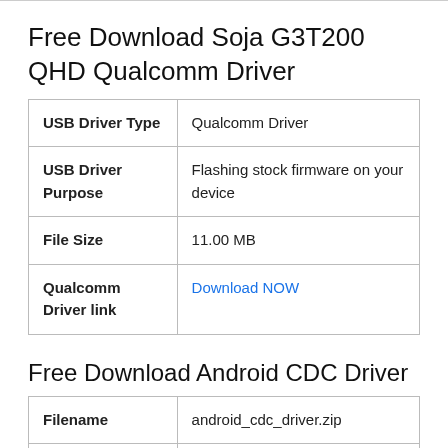Free Download Soja G3T200 QHD Qualcomm Driver
|  |  |
| --- | --- |
| USB Driver Type | Qualcomm Driver |
| USB Driver Purpose | Flashing stock firmware on your device |
| File Size | 11.00 MB |
| Qualcomm Driver link | Download NOW |
Free Download Android CDC Driver
|  |  |
| --- | --- |
| Filename | android_cdc_driver.zip |